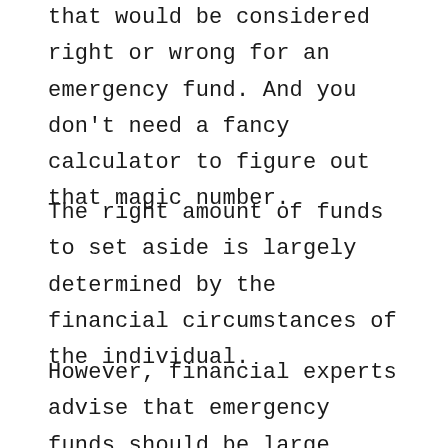that would be considered right or wrong for an emergency fund. And you don't need a fancy calculator to figure out that magic number.
The right amount of funds to set aside is largely determined by the financial circumstances of the individual.
However, financial experts advise that emergency funds should be large enough to cover your living expenses for three to six months.